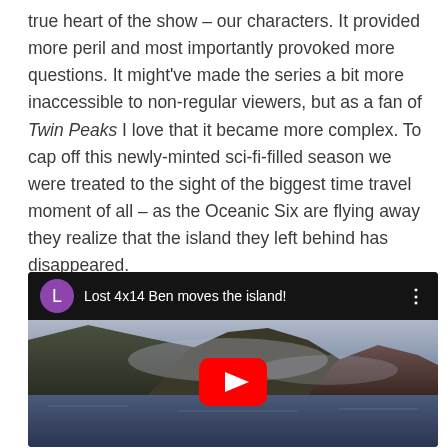true heart of the show – our characters. It provided more peril and most importantly provoked more questions. It might've made the series a bit more inaccessible to non-regular viewers, but as a fan of Twin Peaks I love that it became more complex. To cap off this newly-minted sci-fi-filled season we were treated to the sight of the biggest time travel moment of all – as the Oceanic Six are flying away they realize that the island they left behind has disappeared.
[Figure (screenshot): YouTube video thumbnail showing 'Lost 4x14 Ben moves the island!' with a channel icon showing 'L' in purple, a scenic island/mountain image, and a red YouTube play button in the center.]